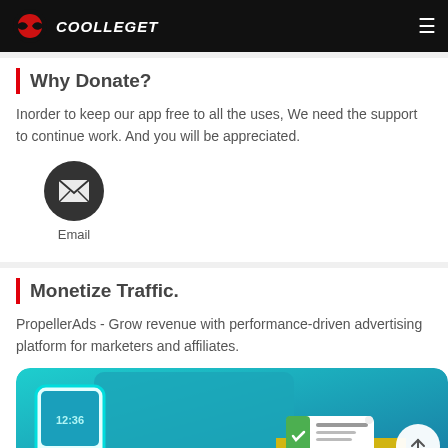COOLLEGET
Why Donate?
Inorder to keep our app free to all the uses, We need the support to continue work. And you will be appreciated.
[Figure (illustration): Dark circular email icon with envelope symbol, with 'Email' label below]
Monetize Traffic.
PropellerAds - Grow revenue with performance-driven advertising platform for marketers and affiliates.
[Figure (screenshot): PropellerAds promotional image showing a smartphone and tablet with teal/blue gradient background and a notification popup showing a coupon deal]